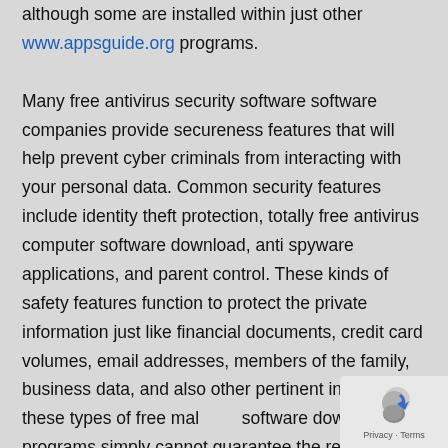although some are installed within just other www.appsguide.org programs.
Many free antivirus security software software companies provide secureness features that will help prevent cyber criminals from interacting with your personal data. Common security features include identity theft protection, totally free antivirus computer software download, anti spyware applications, and parent control. These kinds of safety features function to protect the private information just like financial documents, credit card volumes, email addresses, members of the family, business data, and also other pertinent info. While these types of free malware software download programs simply cannot guarantee the removing of viruses and other
[Figure (logo): reCAPTCHA privacy badge with shield icon and Privacy - Terms text]